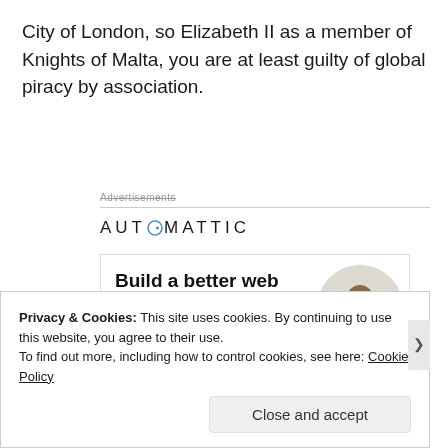City of London, so Elizabeth II as a member of Knights of Malta, you are at least guilty of global piracy by association.
[Figure (infographic): Automattic advertisement showing logo, 'Build a better web and a better world.' headline, Apply button, and circular photo of a person]
Privacy & Cookies: This site uses cookies. By continuing to use this website, you agree to their use.
To find out more, including how to control cookies, see here: Cookie Policy
Close and accept